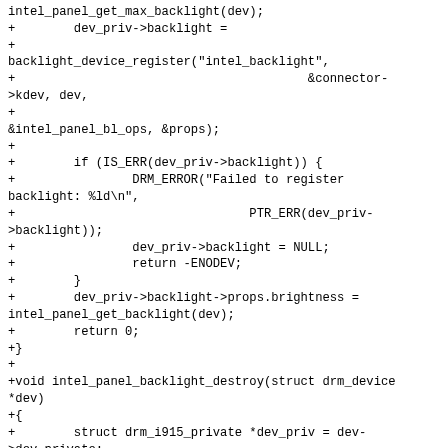intel_panel_get_max_backlight(dev);
+        dev_priv->backlight =
+
backlight_device_register("intel_backlight",
+                                        &connector->kdev, dev,
+
&intel_panel_bl_ops, &props);
+
+        if (IS_ERR(dev_priv->backlight)) {
+                DRM_ERROR("Failed to register backlight: %ld\n",
+                                PTR_ERR(dev_priv->backlight));
+                dev_priv->backlight = NULL;
+                return -ENODEV;
+        }
+        dev_priv->backlight->props.brightness =
intel_panel_get_backlight(dev);
+        return 0;
+}
+
+void intel_panel_backlight_destroy(struct drm_device *dev)
+{
+        struct drm_i915_private *dev_priv = dev->dev_private;
+        if (dev_priv->backlight)
+                backlight_device_unregister(dev_priv->backlight);